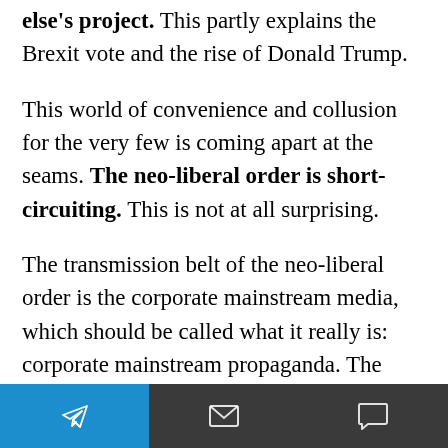else's project. This partly explains the Brexit vote and the rise of Donald Trump.
This world of convenience and collusion for the very few is coming apart at the seams. The neo-liberal order is short-circuiting. This is not at all surprising.
The transmission belt of the neo-liberal order is the corporate mainstream media, which should be called what it really is: corporate mainstream propaganda. The fourth estate has been completely emasculated. It long along abandoned its role of informing publics. Tod... it
[Figure (screenshot): Mobile app bottom navigation bar with three sections: blue Telegram send button on left, dark grey area with envelope/mail icon in center, dark grey area with chat bubble icon on right]